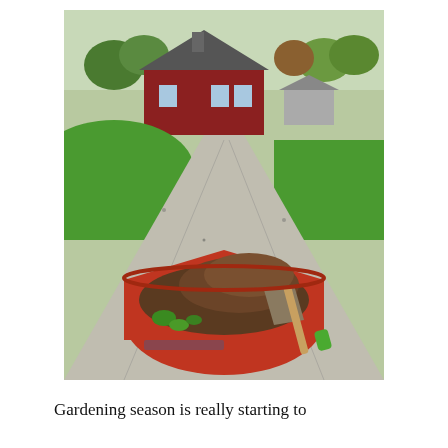[Figure (photo): A red wheelbarrow filled with soil, small green plants, and a shovel with a wooden handle and green grip, sitting on a gravel driveway. In the background, a long gravel path leads to a red barn-style house surrounded by green lawn and trees in spring foliage.]
Gardening season is really starting to